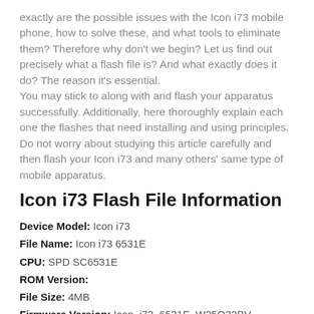exactly are the possible issues with the Icon i73 mobile phone, how to solve these, and what tools to eliminate them? Therefore why don't we begin? Let us find out precisely what a flash file is? And what exactly does it do? The reason it's essential. You may stick to along with and flash your apparatus successfully. Additionally, here thoroughly explain each one the flashes that need installing and using principles. Do not worry about studying this article carefully and then flash your Icon i73 and many others' same type of mobile apparatus.
Icon i73 Flash File Information
Device Model: Icon i73
File Name: Icon i73 6531E
CPU: SPD SC6531E
ROM Version:
File Size: 4MB
Firmware Version: Icon_i73_6531E_W25Q32BV
Icon i73 Flash File Reading Info